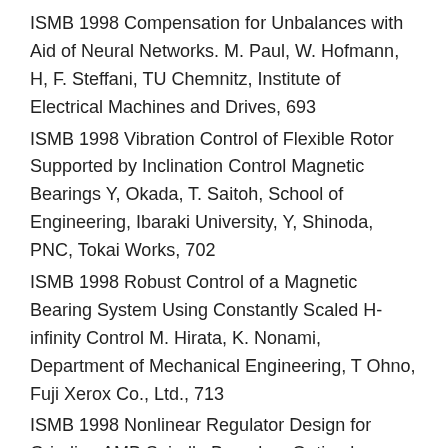ISMB 1998 Compensation for Unbalances with Aid of Neural Networks. M. Paul, W. Hofmann, H, F. Steffani, TU Chemnitz, Institute of Electrical Machines and Drives, 693
ISMB 1998 Vibration Control of Flexible Rotor Supported by Inclination Control Magnetic Bearings Y, Okada, T. Saitoh, School of Engineering, Ibaraki University, Y, Shinoda, PNC, Tokai Works, 702
ISMB 1998 Robust Control of a Magnetic Bearing System Using Constantly Scaled H-infinity Control M. Hirata, K. Nonami, Department of Mechanical Engineering, T Ohno, Fuji Xerox Co., Ltd., 713
ISMB 1998 Nonlinear Regulator Design for Grinding AMB Spindle Based on Optimal Control. L. Zhao, W. Jiang, H. Cong, H. Zhao, Department of Engineering Physics,Tsinghua University, Q, Qi, Shanghai